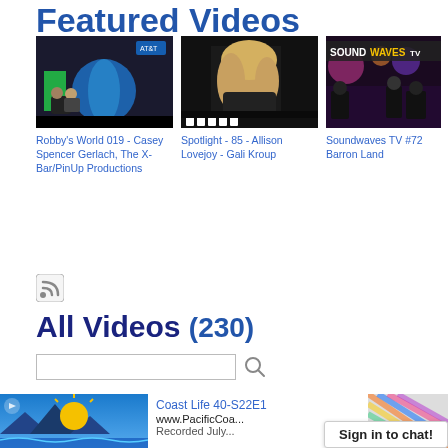Featured Videos
[Figure (screenshot): Video thumbnail: Robby's World 019 - Casey Spencer Gerlach, The X-Bar/PinUp Productions]
Robby's World 019 - Casey Spencer Gerlach, The X-Bar/PinUp Productions
[Figure (screenshot): Video thumbnail: Spotlight - 85 - Allison Lovejoy - Gali Kroup]
Spotlight - 85 - Allison Lovejoy - Gali Kroup
[Figure (screenshot): Video thumbnail: Soundwaves TV #72 - Barron Land]
Soundwaves TV #72 Barron Land
[Figure (screenshot): RSS feed icon]
All Videos (230)
[Figure (screenshot): Search input box with magnifier icon]
[Figure (screenshot): Video thumbnail: Coast Life 40-S22E1]
Coast Life 40-S22E1
www.PacificCoa...
Recorded July...
Sign in to chat!